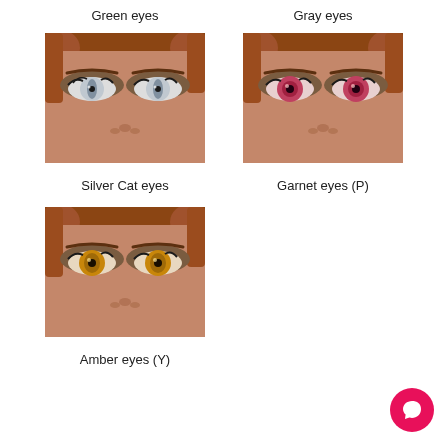Green eyes
Gray eyes
[Figure (illustration): Close-up of a female face with silver/white cat-slit eyes and auburn hair]
[Figure (illustration): Close-up of a female face with garnet/pink-red eyes and auburn hair]
Silver Cat eyes
Garnet eyes (P)
[Figure (illustration): Close-up of a female face with amber/golden eyes and auburn hair]
Amber eyes (Y)